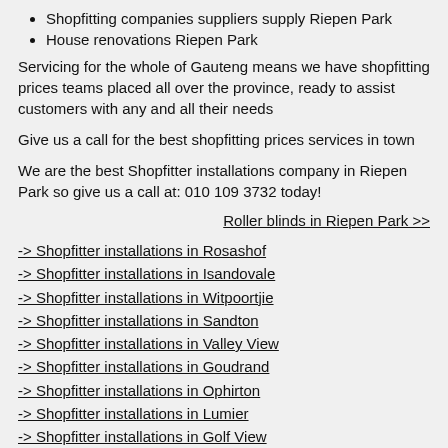Shopfitting companies suppliers supply Riepen Park
House renovations Riepen Park
Servicing for the whole of Gauteng means we have shopfitting prices teams placed all over the province, ready to assist customers with any and all their needs
Give us a call for the best shopfitting prices services in town
We are the best Shopfitter installations company in Riepen Park so give us a call at: 010 109 3732 today!
Roller blinds in Riepen Park >>
-> Shopfitter installations in Rosashof
-> Shopfitter installations in Isandovale
-> Shopfitter installations in Witpoortjie
-> Shopfitter installations in Sandton
-> Shopfitter installations in Valley View
-> Shopfitter installations in Goudrand
-> Shopfitter installations in Ophirton
-> Shopfitter installations in Lumier
-> Shopfitter installations in Golf View
-> Shopfitter installations in Meadow Heights
-> Shopfitter installations in Riverbend
-> Shopfitter installations in Theresapark
-> Shopfitter installations in Gezardville